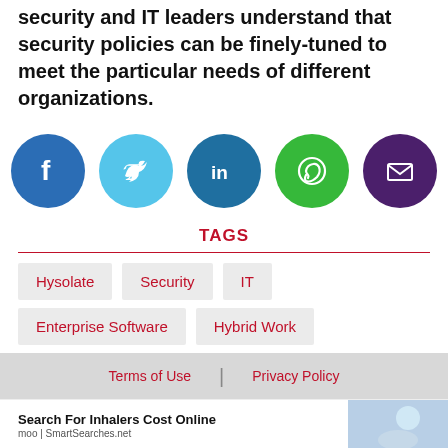security and IT leaders understand that security policies can be finely-tuned to meet the particular needs of different organizations.
[Figure (infographic): Row of five social media sharing icons: Facebook (blue circle with f), Twitter (light blue circle with bird), LinkedIn (dark blue circle with in), WhatsApp (green circle with phone handset), Email (dark purple circle with envelope)]
TAGS
Hysolate
Security
IT
Enterprise Software
Hybrid Work
Terms of Use | Privacy Policy
Search For Inhalers Cost Online
moo | SmartSearches.net